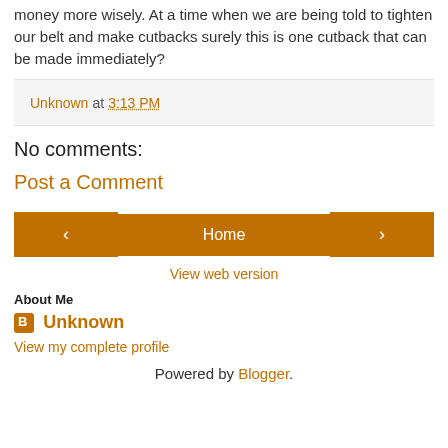money more wisely. At a time when we are being told to tighten our belt and make cutbacks surely this is one cutback that can be made immediately?
Unknown at 3:13 PM
No comments:
Post a Comment
< Home >
View web version
About Me
Unknown
View my complete profile
Powered by Blogger.